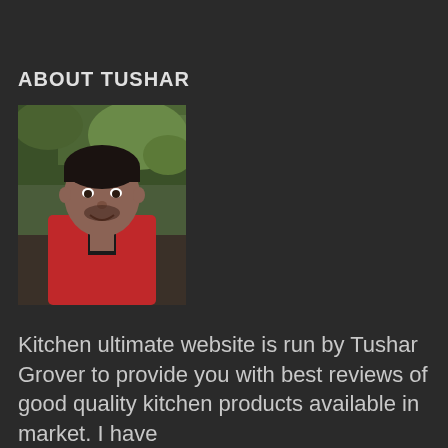ABOUT TUSHAR
[Figure (photo): Portrait photo of Tushar Grover, a young man wearing a red shirt, standing outdoors with green foliage in the background.]
Kitchen ultimate website is run by Tushar Grover to provide you with best reviews of good quality kitchen products available in market. I have